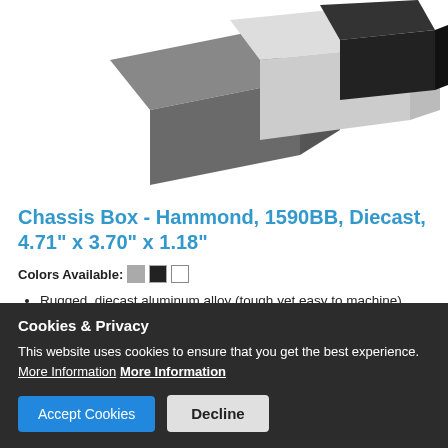[Figure (photo): Three diecast aluminum enclosure boxes in different colors (dark gray, light gray/silver, and black) arranged overlapping on a white background, photographed from a slightly elevated angle.]
Chassis Box - Hammond, 1590BB, Diecast, 4.71" x 3.70" x 1.18"
Colors Available: [gray swatch][black swatch][white swatch]
Rugged, diecast aluminum alloy (tough yet easy to machine), electronic instrument enclosure.
Lap joint construction provides protection against access of
Cookies & Privacy
This website uses cookies to ensure that you get the best experience. More Information More Information
[Accept Cookies] [Decline]